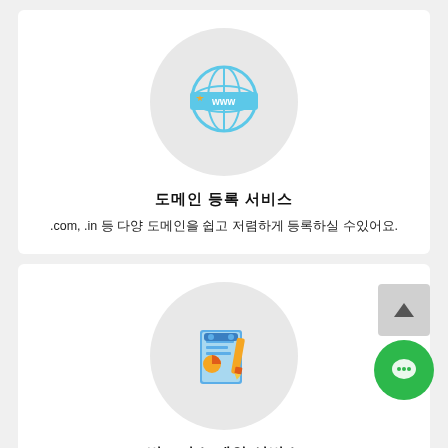[Figure (illustration): Globe icon with www banner on grey circle background]
도메인 등록 서비스
.com, .in 등 다양 도메인을 쉽고 저렴하게 등록하실 수있어요.
[Figure (illustration): Document/report with pencil icon on grey circle background]
비즈니스 제안 서비스